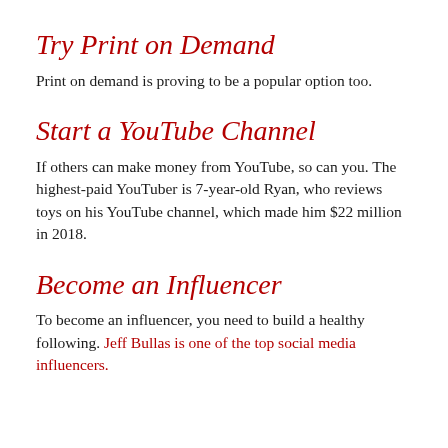Try Print on Demand
Print on demand is proving to be a popular option too.
Start a YouTube Channel
If others can make money from YouTube, so can you. The highest-paid YouTuber is 7-year-old Ryan, who reviews toys on his YouTube channel, which made him $22 million in 2018.
Become an Influencer
To become an influencer, you need to build a healthy following. Jeff Bullas is one of the top social media influencers.